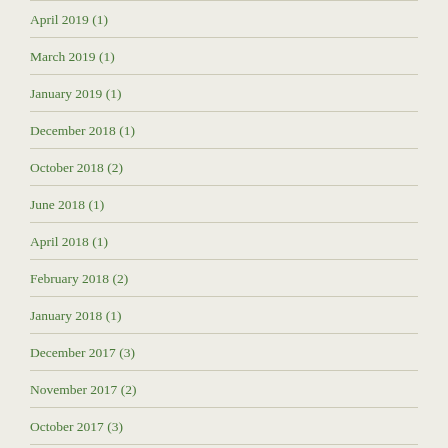April 2019 (1)
March 2019 (1)
January 2019 (1)
December 2018 (1)
October 2018 (2)
June 2018 (1)
April 2018 (1)
February 2018 (2)
January 2018 (1)
December 2017 (3)
November 2017 (2)
October 2017 (3)
September 2017 (2)
August 2017 (2)